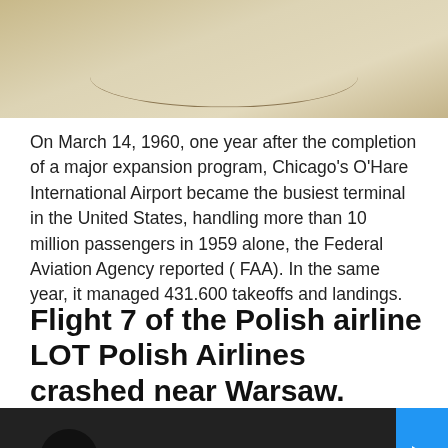[Figure (photo): Top portion of an aerial or overhead photograph showing a light wood-colored surface with a curved dark line mark]
On March 14, 1960, one year after the completion of a major expansion program, Chicago's O'Hare International Airport became the busiest terminal in the United States, handling more than 10 million passengers in 1959 alone, the Federal Aviation Agency reported ( FAA). In the same year, it managed 431.600 takeoffs and landings.
Flight 7 of the Polish airline LOT Polish Airlines crashed near Warsaw.
[Figure (screenshot): Video thumbnail for 'Plane Crash Site - LOT Flight 7 [Kult ...' with Kult America logo on left and blue play button on right]